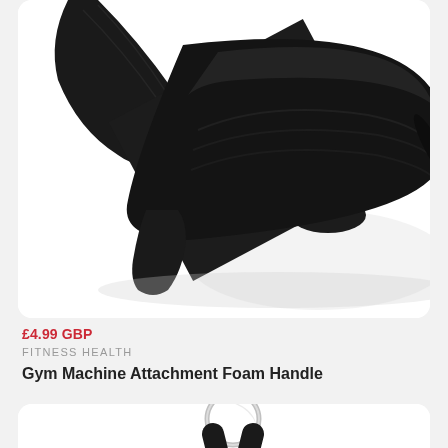[Figure (photo): Close-up photo of a black foam gym handle attachment with a D-ring/metal ring connector, showing the cylindrical foam grip and black strap on a white background.]
£4.99 GBP
FITNESS HEALTH
Gym Machine Attachment Foam Handle
[Figure (photo): Partial view of another gym attachment product showing a silver D-ring and black strap on a white background.]